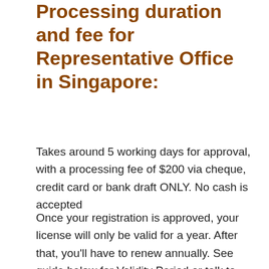Processing duration and fee for Representative Office in Singapore:
Takes around 5 working days for approval, with a processing fee of $200 via cheque, credit card or bank draft ONLY. No cash is accepted
Once your registration is approved, your license will only be valid for a year. After that, you'll have to renew annually. See guide below for Validity Period or talk to our staff at Paul Hype Page.
Foreign companies setting up in Singapore have multiple avenues to do so. See below for a